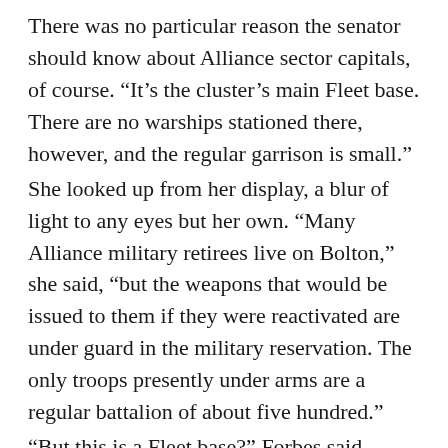There was no particular reason the senator should know about Alliance sector capitals, of course. “It’s the cluster’s main Fleet base. There are no warships stationed there, however, and the regular garrison is small.” She looked up from her display, a blur of light to any eyes but her own. “Many Alliance military retirees live on Bolton,” she said, “but the weapons that would be issued to them if they were reactivated are under guard in the military reservation. The only troops presently under arms are a regular battalion of about five hundred.” “But this is a Fleet base?” Forbes said. “Surely it’s defended?” She touched the console she sat at, obviously for a moment considering bringing it live. A Senator wouldn’t carry a data unit herself, but